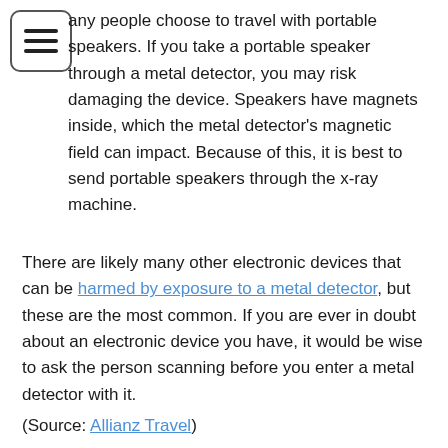Many people choose to travel with portable speakers. If you take a portable speaker through a metal detector, you may risk damaging the device. Speakers have magnets inside, which the metal detector's magnetic field can impact. Because of this, it is best to send portable speakers through the x-ray machine.
There are likely many other electronic devices that can be harmed by exposure to a metal detector, but these are the most common. If you are ever in doubt about an electronic device you have, it would be wise to ask the person scanning before you enter a metal detector with it.
(Source: Allianz Travel)